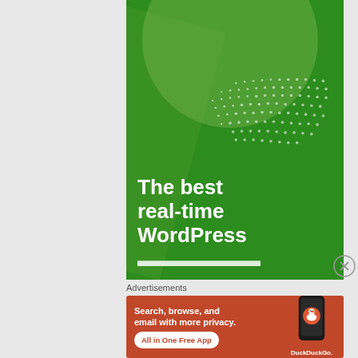[Figure (illustration): Green advertisement banner for WordPress real-time service. Dark green background with lighter green circle shape at top, diagonal lighter green stripe, dot pattern in center-right area. Large white bold text reads 'The best real-time WordPress' with more text cut off at bottom.]
Advertisements
[Figure (illustration): DuckDuckGo advertisement on orange-red background. Left side has white bold text 'Search, browse, and email with more privacy.' with white pill-shaped button 'All in One Free App'. Right side shows a dark smartphone with DuckDuckGo duck logo and 'DuckDuckGo.' text below.]